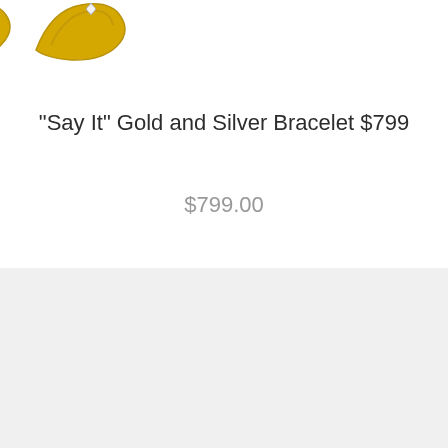[Figure (illustration): Partial view of gold and silver bracelet jewelry pieces against white background, cropped at top of page]
"Say It" Gold and Silver Bracelet $799
$799.00